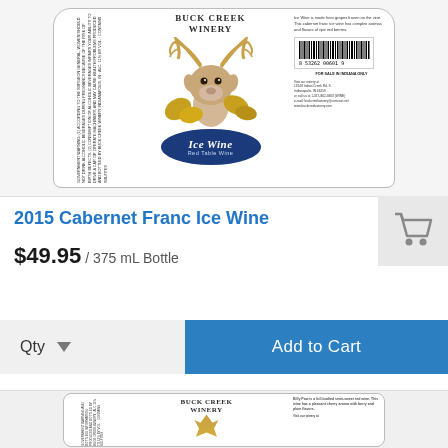[Figure (photo): Buck Creek Winery Ice Wine product label featuring a white-tailed deer with antlers, golden autumn leaves, and a dark blue oval badge reading 'Ice Wine - Red Table Wine'. Label includes warning text on left, barcode, and contact/description text on right.]
2015 Cabernet Franc Ice Wine
$49.95 / 375 mL Bottle
[Figure (infographic): Shopping cart icon in gray on light gray square background]
Qty   ▼
Add to Cart
[Figure (photo): Second Buck Creek Winery product label partially visible at bottom of page, showing winery logo with deer antlers and partial product description text.]